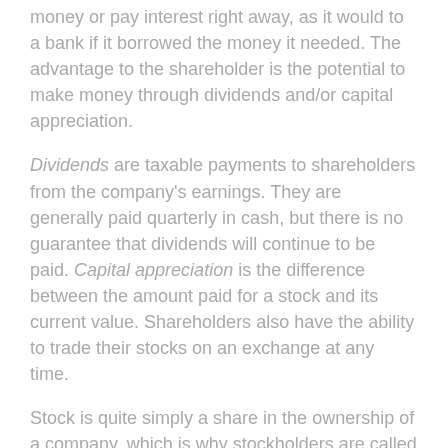money or pay interest right away, as it would to a bank if it borrowed the money it needed. The advantage to the shareholder is the potential to make money through dividends and/or capital appreciation.
Dividends are taxable payments to shareholders from the company's earnings. They are generally paid quarterly in cash, but there is no guarantee that dividends will continue to be paid. Capital appreciation is the difference between the amount paid for a stock and its current value. Shareholders also have the ability to trade their stocks on an exchange at any time.
Stock is quite simply a share in the ownership of a company, which is why stockholders are called shareholders. When you buy stock, you are actually buying a piece of the company it represents; you have a claim on part of the corporation's assets and earnings.